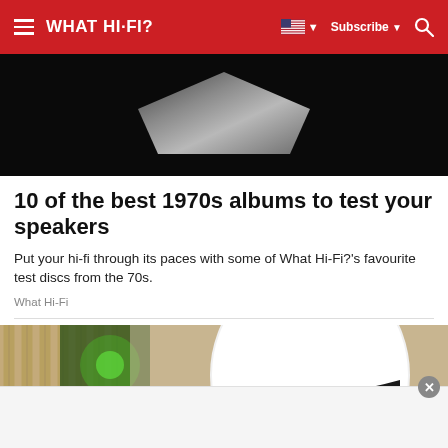WHAT HI-FI?  Subscribe
[Figure (photo): Dark background with a diamond/pyramid shaped reflective object, top portion of a record or music-related image]
10 of the best 1970s albums to test your speakers
Put your hi-fi through its paces with some of What Hi-Fi?'s favourite test discs from the 70s.
What Hi-Fi
[Figure (photo): Close-up of a white rounded speaker or headphone with black stripe, with green-lit background equipment visible on the left]